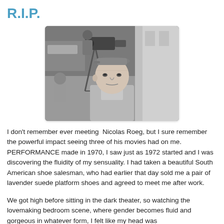R.I.P.
[Figure (photo): Black and white photograph of Nicolas Roeg standing on a street near a film camera, wearing a flat cap and tweed jacket, looking at the camera.]
I don't remember ever meeting  Nicolas Roeg, but I sure remember the powerful impact seeing three of his movies had on me. PERFORMANCE made in 1970, I saw just as 1972 started and I was discovering the fluidity of my sensuality. I had taken a beautiful South American shoe salesman, who had earlier that day sold me a pair of lavender suede platform shoes and agreed to meet me after work.
We got high before sitting in the dark theater, so watching the lovemaking bedroom scene, where gender becomes fluid and gorgeous in whatever form, I felt like my head was